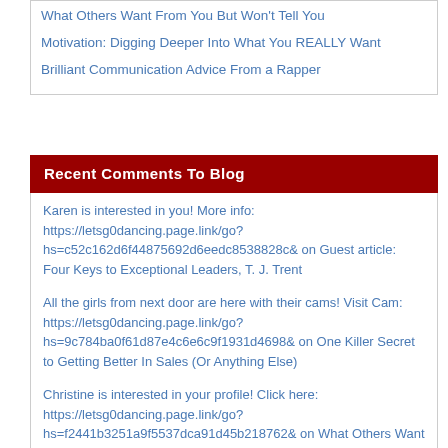What Others Want From You But Won't Tell You
Motivation: Digging Deeper Into What You REALLY Want
Brilliant Communication Advice From a Rapper
Recent Comments To Blog
Karen is interested in you! More info: https://letsg0dancing.page.link/go?hs=c52c162d6f44875692d6eedc8538828c& on Guest article: Four Keys to Exceptional Leaders, T. J. Trent
All the girls from next door are here with their cams! Visit Cam: https://letsg0dancing.page.link/go?hs=9c784ba0f61d87e4c6e6c9f1931d4698& on One Killer Secret to Getting Better In Sales (Or Anything Else)
Christine is interested in your profile! Click here: https://letsg0dancing.page.link/go?hs=f2441b3251a9f5537dca91d45b218762& on What Others Want From You But Won't Tell You
Доброго вечера,Вам отправили подарок. Войдите по ссылке -> https://forms.yandex.ru/cloud/62b713466855cca634ae6e2c/?hs=c52c162d6f44875692d6eedc8538828c& on Guest article: Four